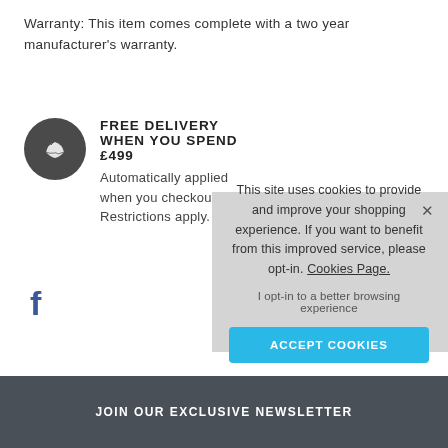Warranty: This item comes complete with a two year manufacturer's warranty.
FREE DELIVERY WHEN YOU SPEND £499
Automatically applied when you checkout. Restrictions apply.
[Figure (other): Cookie consent overlay banner with text: This site uses cookies to provide and improve your shopping experience. If you want to benefit from this improved service, please opt-in. Cookies Page. I opt-in to a better browsing experience. ACCEPT COOKIES button.]
[Figure (other): Facebook icon (letter f in blue)]
JOIN OUR EXCLUSIVE NEWSLETTER